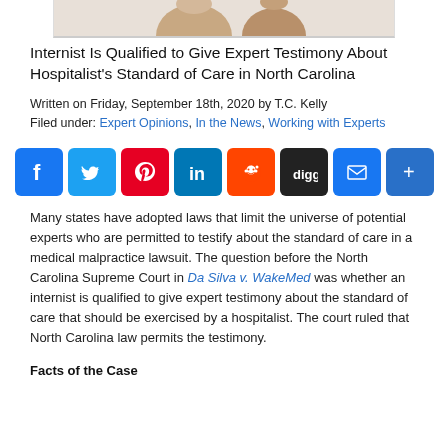[Figure (photo): Partial image of a person at the top of the page, cropped, showing only the lower portion]
Internist Is Qualified to Give Expert Testimony About Hospitalist's Standard of Care in North Carolina
Written on Friday, September 18th, 2020 by T.C. Kelly
Filed under: Expert Opinions, In the News, Working with Experts
[Figure (infographic): Social media sharing buttons: Facebook, Twitter, Pinterest, LinkedIn, Reddit, Digg, Email, Share]
Many states have adopted laws that limit the universe of potential experts who are permitted to testify about the standard of care in a medical malpractice lawsuit. The question before the North Carolina Supreme Court in Da Silva v. WakeMed was whether an internist is qualified to give expert testimony about the standard of care that should be exercised by a hospitalist. The court ruled that North Carolina law permits the testimony.
Facts of the Case